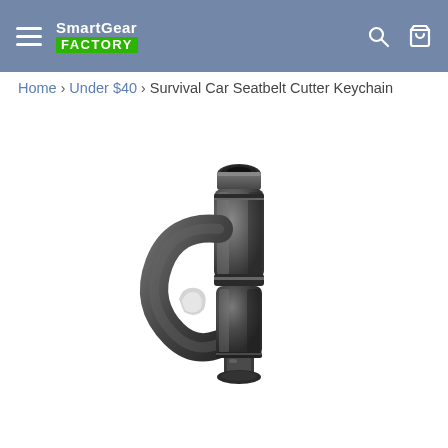SmartGear FACTORY
Home > Under $40 > Survival Car Seatbelt Cutter Keychain
[Figure (photo): Close-up photo of a dark gunmetal/grey survival car seatbelt cutter keychain tool. The device has a cylindrical barrel at the top with an opening, a curved hook-shaped seatbelt cutter blade on the left side with a recessed blade, and a smaller cylindrical section at the bottom. The tool appears to be made of dark zinc alloy or similar metal, shown against a white background.]